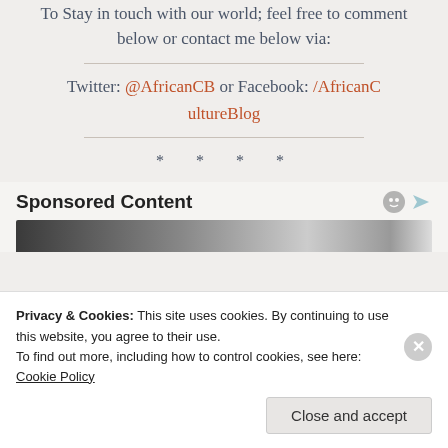To Stay in touch with our world; feel free to comment below or contact me below via:
Twitter: @AfricanCB or Facebook: /AfricanCultureBlog
* * * *
Sponsored Content
[Figure (photo): Black and white image strip, appears to be a close-up of an animal]
Privacy & Cookies: This site uses cookies. By continuing to use this website, you agree to their use. To find out more, including how to control cookies, see here: Cookie Policy
Close and accept